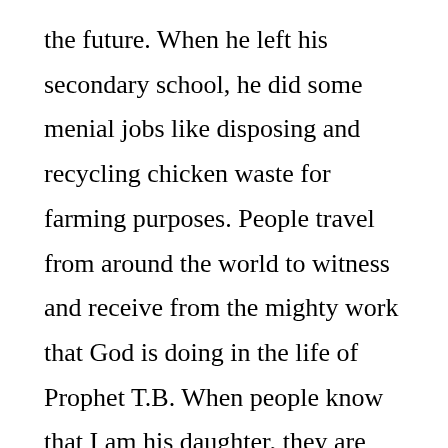the future. When he left his secondary school, he did some menial jobs like disposing and recycling chicken waste for farming purposes. People travel from around the world to witness and receive from the mighty work that God is doing in the life of Prophet T.B. When people know that I am his daughter, they are always surprised. The man of God stated this in a question and answer session on Emmanuel TV on YouTube, in which he said whatever the situation a